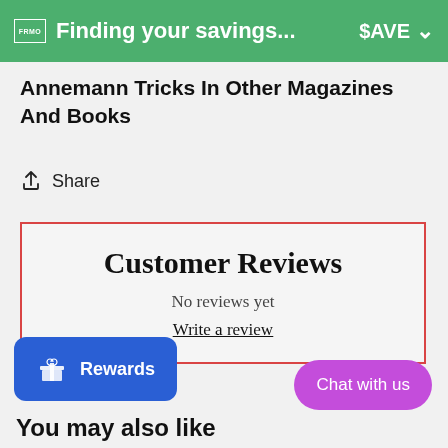Finding your savings... $AVE
Annemann Tricks In Other Magazines And Books
Share
Customer Reviews
No reviews yet
Write a review
Rewards
Chat with us
You may also like